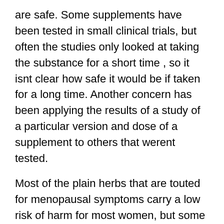are safe. Some supplements have been tested in small clinical trials, but often the studies only looked at taking the substance for a short time , so it isnt clear how safe it would be if taken for a long time. Another concern has been applying the results of a study of a particular version and dose of a supplement to others that werent tested.
Most of the plain herbs that are touted for menopausal symptoms carry a low risk of harm for most women, but some can interact with other drugs and/or cause unexpected problems. You should discuss herbs or supplements with your doctor before taking them.
Well-controlled scientific studies are needed to help find out if these products work and if they are any safer than the hormone therapy drugs now in use.
How Much Do I Need to Know? Role of...